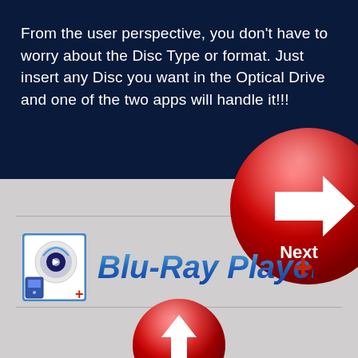From the user perspective, you don't have to worry about the Disc Type or format. Just insert any Disc you want in the Optical Drive and one of the two apps will handle it!!!
[Figure (other): Large red circular Next button with white right arrow and 'Next' label, positioned at upper right overlapping top and bottom sections]
[Figure (logo): Blu-Ray Player+ app icon (disc with play button and remote, blue border, '+' symbol) followed by 'Blu-Ray Player+' text logo in blue gradient lettering]
[Figure (other): Red circular up/back arrow button at bottom center]